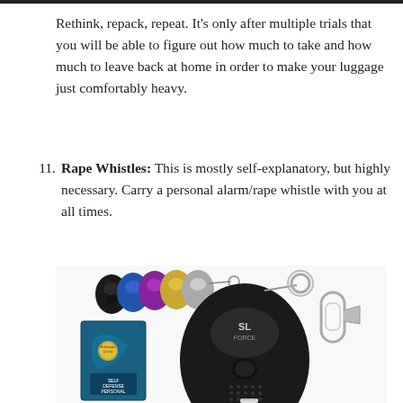Rethink, repack, repeat. It’s only after multiple trials that you will be able to figure out how much to take and how much to leave back at home in order to make your luggage just comfortably heavy.
11. Rape Whistles: This is mostly self-explanatory, but highly necessary. Carry a personal alarm/rape whistle with you at all times.
[Figure (photo): Product photo of SL Force personal safety alarm/rape whistle keychain device, shown in black color with keyring and carabiner clip, alongside a product box labeled 'Self Defense Personal Alarm' and a row of smaller devices in various colors (black, blue, purple, gold, silver).]